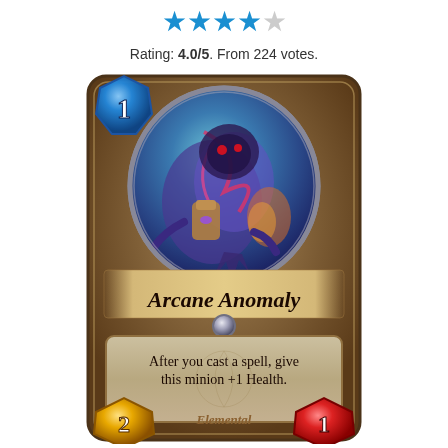[Figure (illustration): Star rating display showing 4 out of 5 blue stars]
Rating: 4.0/5. From 224 votes.
[Figure (illustration): Hearthstone card for 'Arcane Anomaly' — 1 mana cost, shows a blue elemental creature in card art. Card text: After you cast a spell, give this minion +1 Health. Attack: 2, Health: 1. Type: Elemental.]